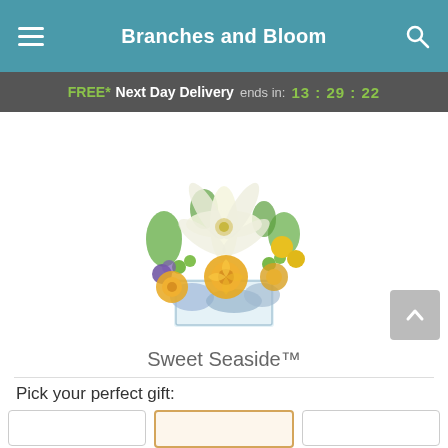Branches and Bloom
FREE* Next Day Delivery ends in: 13:29:22
[Figure (photo): A floral arrangement called Sweet Seaside in a clear glass cube vase, featuring white lilies, yellow roses, green hypericum berries, blue hydrangeas, purple flowers, and yellow craspedia.]
Sweet Seaside™
Pick your perfect gift: